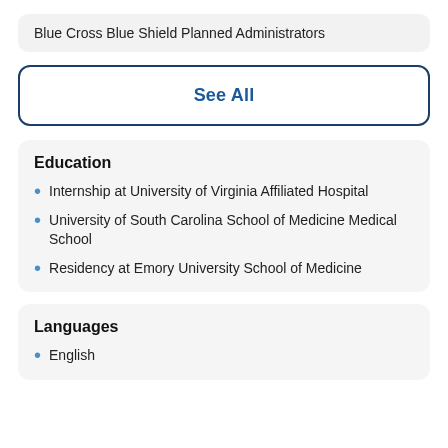Blue Cross Blue Shield Planned Administrators
See All
Education
Internship at University of Virginia Affiliated Hospital
University of South Carolina School of Medicine Medical School
Residency at Emory University School of Medicine
Languages
English